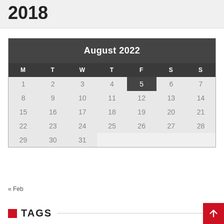2018
[Figure (other): August 2022 calendar widget showing month view with days M T W T F S S. Day 5 is highlighted. Navigation shows « Feb below the calendar.]
« Feb
TAGS